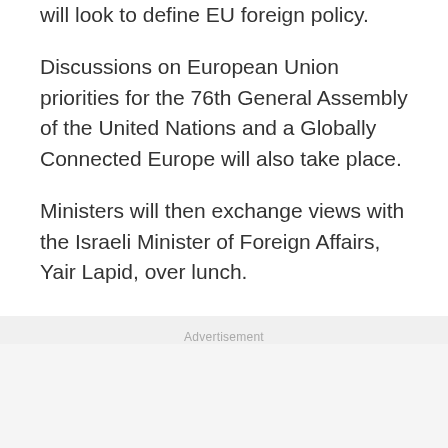will look to define EU foreign policy.
Discussions on European Union priorities for the 76th General Assembly of the United Nations and a Globally Connected Europe will also take place.
Ministers will then exchange views with the Israeli Minister of Foreign Affairs, Yair Lapid, over lunch.
Advertisement